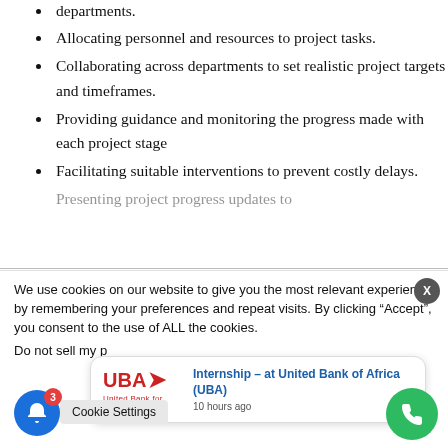departments.
Allocating personnel and resources to project tasks.
Collaborating across departments to set realistic project targets and timeframes.
Providing guidance and monitoring the progress made with each project stage
Facilitating suitable interventions to prevent costly delays.
Presenting project progress updates to
We use cookies on our website to give you the most relevant experience by remembering your preferences and repeat visits. By clicking “Accept”, you consent to the use of ALL the cookies.
Do not sell my p
Cookie Settings
[Figure (infographic): UBA (United Bank for Africa) notification card showing 'Internship – at United Bank of Africa (UBA)' posted 10 hours ago, with UBA logo in red on the left and text in blue on the right.]
[Figure (infographic): Blue circular notification bell button with red badge showing number 3]
[Figure (infographic): Green circular phone/call button]